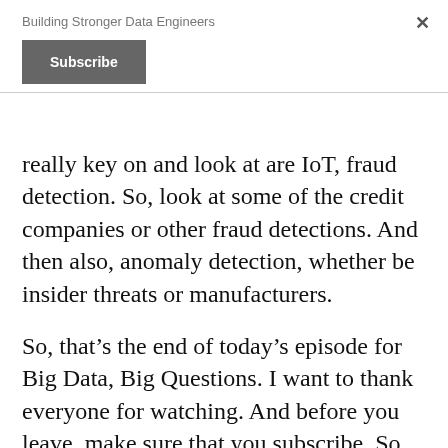Building Stronger Data Engineers
Subscribe
really key on and look at are IoT, fraud detection. So, look at some of the credit companies or other fraud detections. And then also, anomaly detection, whether be insider threats or manufacturers.
So, that's the end of today's episode for Big Data, Big Questions. I want to thank everyone for watching. And before you leave, make sure that you subscribe. So, you never want to miss an episode. You never want to miss any of my Big Data Tips. So, make sure you subscribe